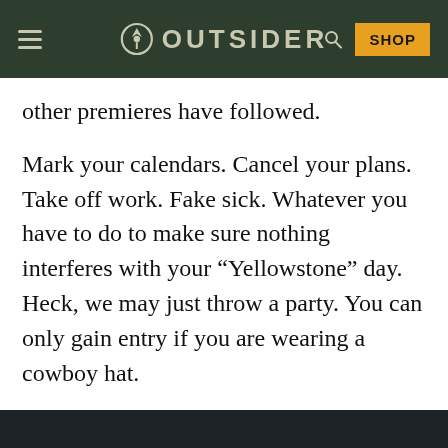OUTSIDER
other premieres have followed.
Mark your calendars. Cancel your plans. Take off work. Fake sick. Whatever you have to do to make sure nothing interferes with your “Yellowstone” day. Heck, we may just throw a party. You can only gain entry if you are wearing a cowboy hat.
According to Matt & Jess, the only reason anyone can think of why the show wouldn’t air this late…